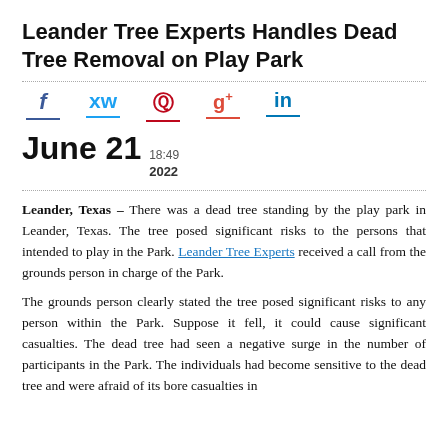Leander Tree Experts Handles Dead Tree Removal on Play Park
[Figure (other): Social media sharing icons: Facebook (f), Twitter bird, Pinterest (p), Google+ (g+), LinkedIn (in), each with a colored underline]
June 21  18:49  2022
Leander, Texas – There was a dead tree standing by the play park in Leander, Texas. The tree posed significant risks to the persons that intended to play in the Park. Leander Tree Experts received a call from the grounds person in charge of the Park.
The grounds person clearly stated the tree posed significant risks to any person within the Park. Suppose it fell, it could cause significant casualties. The dead tree had seen a negative surge in the number of participants in the Park. The individuals had become sensitive to the dead tree and were afraid of its bore casualties in the event it fell.